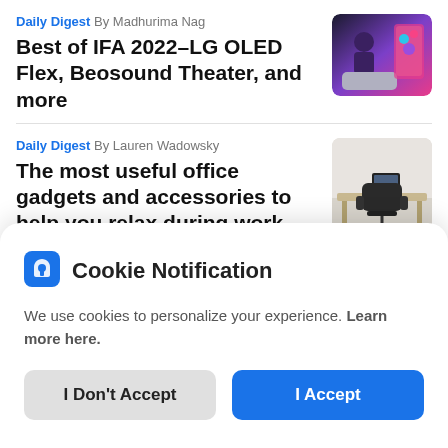Daily Digest  By Madhurima Nag
Best of IFA 2022–LG OLED Flex, Beosound Theater, and more
[Figure (photo): Thumbnail image of person sitting on couch with TV/screen showing colorful display]
Daily Digest  By Lauren Wadowsky
The most useful office gadgets and accessories to help you relax during work
[Figure (photo): Thumbnail image of ergonomic office chair at a desk]
Cookie Notification
We use cookies to personalize your experience. Learn more here.
I Don't Accept
I Accept